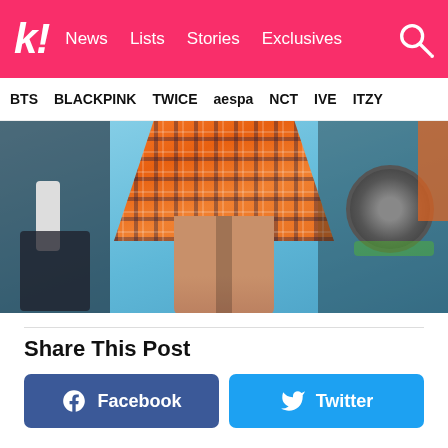k! News Lists Stories Exclusives
BTS BLACKPINK TWICE aespa NCT IVE ITZY
[Figure (photo): Close-up photo of a person wearing an orange plaid skirt, with blurred background showing speakers and camera equipment]
Share This Post
Facebook
Twitter